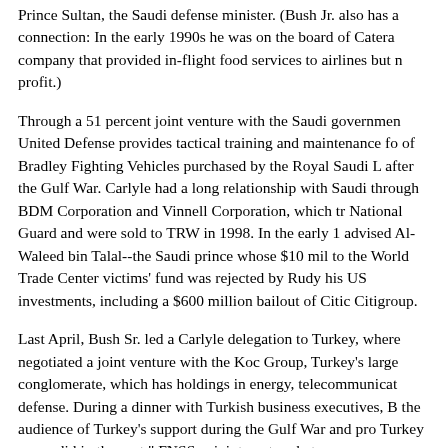Prince Sultan, the Saudi defense minister. (Bush Jr. also has a connection: In the early 1990s he was on the board of Caterair, a company that provided in-flight food services to airlines but never profit.)
Through a 51 percent joint venture with the Saudi government, United Defense provides tactical training and maintenance for of Bradley Fighting Vehicles purchased by the Royal Saudi L after the Gulf War. Carlyle had a long relationship with Saudi through BDM Corporation and Vinnell Corporation, which tr National Guard and were sold to TRW in 1998. In the early 1 advised Al-Waleed bin Talal--the Saudi prince whose $10 mil to the World Trade Center victims' fund was rejected by Rudy his US investments, including a $600 million bailout of Citic Citigroup.
Last April, Bush Sr. led a Carlyle delegation to Turkey, where negotiated a joint venture with the Koc Group, Turkey's large conglomerate, which has holdings in energy, telecommunicat defense. During a dinner with Turkish business executives, B the audience of Turkey's support during the Gulf War and pro Turkey as we did in the past." FNSS, a joint venture between